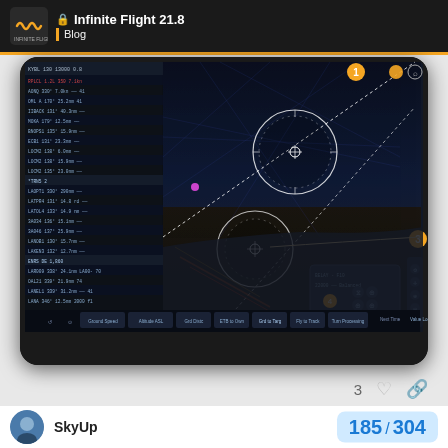Infinite Flight 21.8 | Blog
[Figure (screenshot): Screenshot of Infinite Flight 21.8 app running on a tablet, showing a flight plan list panel on the left with waypoints and distances, and a 3D night-time cockpit/map view with navigation overlays, circles (HSI/compass roses), route lines, and various UI buttons including orange numbered markers. Multiple orange circular buttons with numbers visible on the sides.]
3
SkyUp
185 / 304